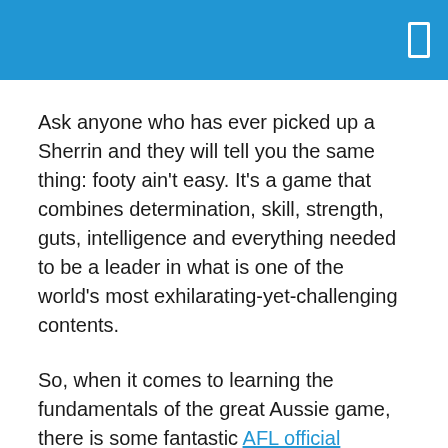Ask anyone who has ever picked up a Sherrin and they will tell you the same thing: footy ain’t easy. It’s a game that combines determination, skill, strength, guts, intelligence and everything needed to be a leader in what is one of the world’s most exhilarating-yet-challenging contents.
So, when it comes to learning the fundamentals of the great Aussie game, there is some fantastic AFL official merchandise that you can take to your local park or pick up for your local club.
If you’ve been looking to become a comprehensive